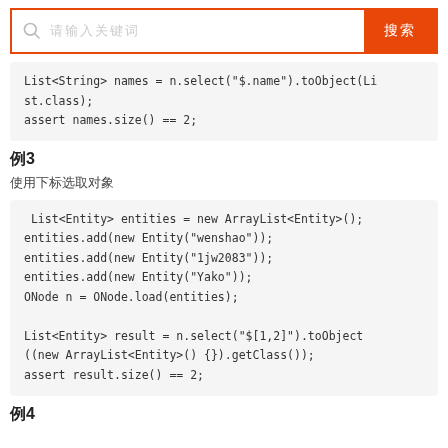[Figure (screenshot): Search bar with orange border and orange search button with Chinese text]
List<String> names = n.select("$.name").toObject(List.class);
assert names.size() == 2;
例3
使用下标选取对象
List<Entity> entities = new ArrayList<Entity>();
entities.add(new Entity("wenshao"));
entities.add(new Entity("1jw2083"));
entities.add(new Entity("Yako"));
ONode n = ONode.load(entities);

List<Entity> result = n.select("$[1,2]").toObject((new ArrayList<Entity>() {}).getClass());
assert result.size() == 2;
例4